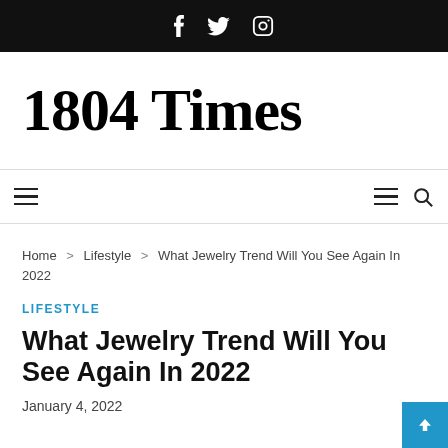f  🐦  ⬜ (social icons: Facebook, Twitter, Instagram)
1804 Times
≡  ≡  🔍 (navigation icons)
Home > Lifestyle > What Jewelry Trend Will You See Again In 2022
LIFESTYLE
What Jewelry Trend Will You See Again In 2022
January 4, 2022